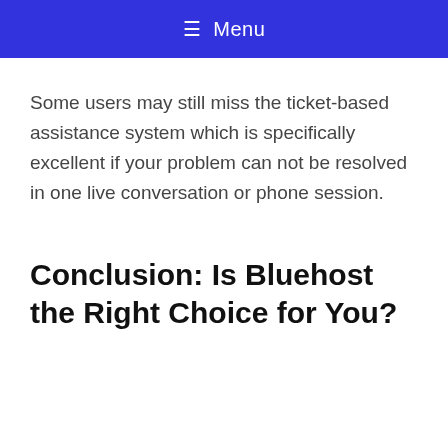☰ Menu
Some users may still miss the ticket-based assistance system which is specifically excellent if your problem can not be resolved in one live conversation or phone session.
Conclusion: Is Bluehost the Right Choice for You?